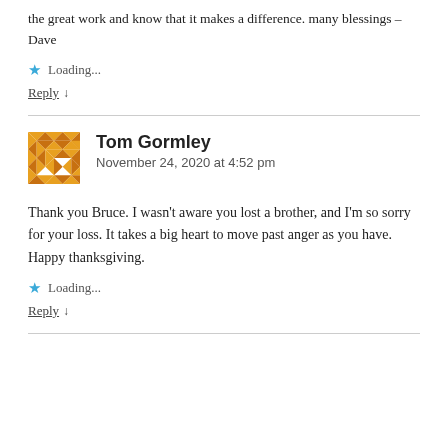the great work and know that it makes a difference. many blessings – Dave
Loading...
Reply ↓
Tom Gormley
November 24, 2020 at 4:52 pm
Thank you Bruce. I wasn't aware you lost a brother, and I'm so sorry for your loss. It takes a big heart to move past anger as you have. Happy thanksgiving.
Loading...
Reply ↓